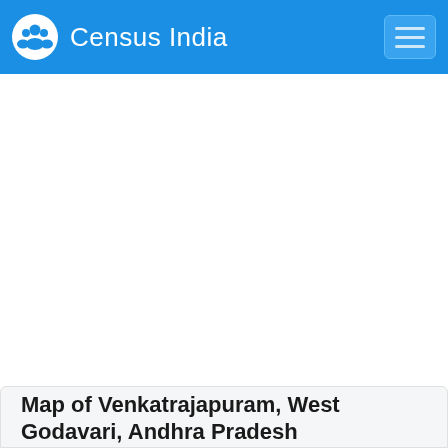Census India
Map of Venkatrajapuram, West Godavari, Andhra Pradesh